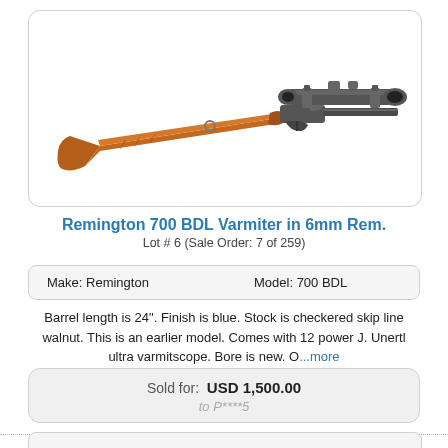[Figure (photo): Photograph of a Remington 700 BDL Varmiter rifle in 6mm Rem. with a J. Unertl ultra varmitscope mounted on top. The rifle has a walnut stock and blue finish.]
Remington 700 BDL Varmiter in 6mm Rem.
Lot # 6 (Sale Order: 7 of 259)
| Make: Remington | Model: 700 BDL |
Barrel length is 24". Finish is blue. Stock is checkered skip line walnut. This is an earlier model. Comes with 12 power J. Unertl ultra varmitscope. Bore is new. O...more
Sold for: USD 1,500.00
to P****5